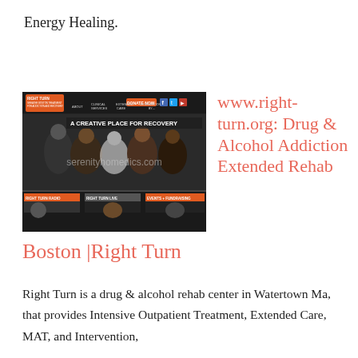Energy Healing.
[Figure (screenshot): Screenshot of www.right-turn.org website showing 'A Creative Place for Recovery' with group photo and thumbnails for Right Turn Radio, Right Turn Live, Events + Fundraising sections. Watermark: serenityhomedics.com]
www.right-turn.org: Drug & Alcohol Addiction Extended Rehab
Boston |Right Turn
Right Turn is a drug & alcohol rehab center in Watertown Ma, that provides Intensive Outpatient Treatment, Extended Care, MAT, and Intervention,